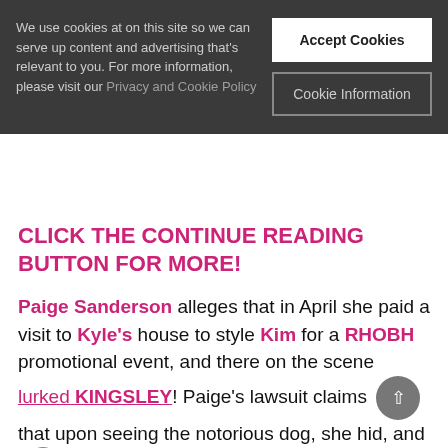We use cookies at on this site so we can serve up content and advertising that's relevant to you. For more information, please visit our Privacy and Cookie Policy
Accept Cookies
Cookie Information
CLICK THE CONTINUE READING BUTTON FOR MORE!
Paige Sanderson alleges that in April she paid a visit to Kyle's house to style Kim for a RHOBH promotional event, and there on the scene lurked KINGSLEY! Paige's lawsuit claims that upon seeing the notorious dog, she hid, and